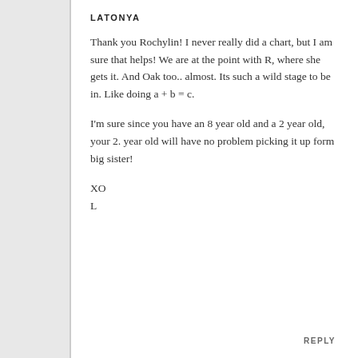LATONYA
Thank you Rochylin! I never really did a chart, but I am sure that helps! We are at the point with R, where she gets it. And Oak too.. almost. Its such a wild stage to be in. Like doing a + b = c.
I'm sure since you have an 8 year old and a 2 year old, your 2. year old will have no problem picking it up form big sister!
XO
L
REPLY